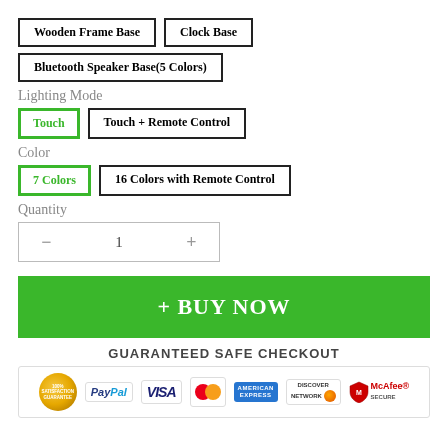Wooden Frame Base
Clock Base
Bluetooth Speaker Base(5 Colors)
Lighting Mode
Touch
Touch + Remote Control
Color
7 Colors
16 Colors with Remote Control
Quantity
- 1 +
+ BUY NOW
GUARANTEED SAFE CHECKOUT
[Figure (infographic): Payment badges: Satisfaction Guarantee seal, PayPal, VISA, MasterCard, American Express, Discover Network, McAfee SECURE]